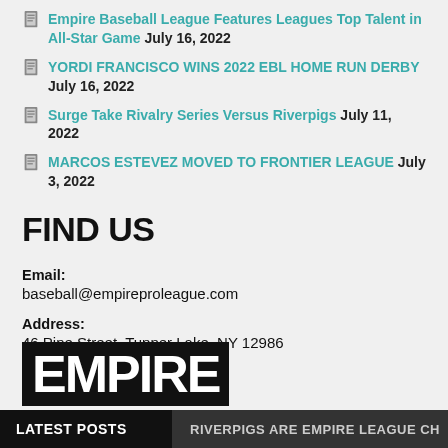Empire Baseball League Features Leagues Top Talent in All-Star Game July 16, 2022
YORDI FRANCISCO WINS 2022 EBL HOME RUN DERBY July 16, 2022
Surge Take Rivalry Series Versus Riverpigs July 11, 2022
MARCOS ESTEVEZ MOVED TO FRONTIER LEAGUE July 3, 2022
FIND US
Email:
baseball@empireproleague.com
Address:
46 Pine Street, Tupper Lake, NY 12986
[Figure (logo): Empire Baseball League logo — black box with white bold letters 'EMPIRE' partially visible]
LATEST POSTS    RIVERPIGS ARE EMPIRE LEAGUE CH